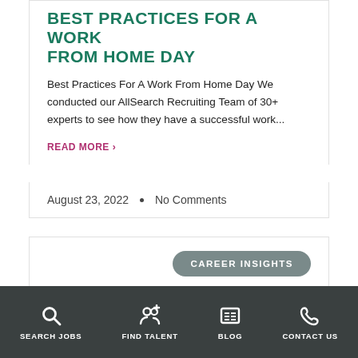BEST PRACTICES FOR A WORK FROM HOME DAY
Best Practices For A Work From Home Day We conducted our AllSearch Recruiting Team of 30+ experts to see how they have a successful work...
READ MORE ›
August 23, 2022 • No Comments
CAREER INSIGHTS
SEARCH JOBS  FIND TALENT  BLOG  CONTACT US